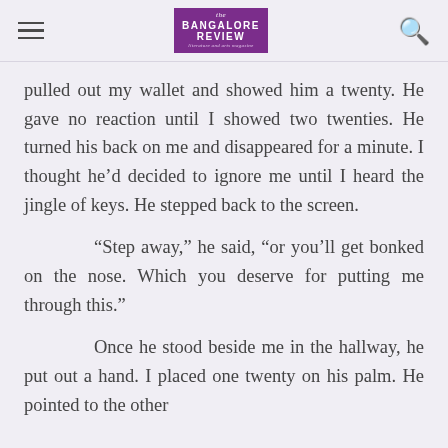the BANGALORE REVIEW
pulled out my wallet and showed him a twenty. He gave no reaction until I showed two twenties. He turned his back on me and disappeared for a minute. I thought he’d decided to ignore me until I heard the jingle of keys. He stepped back to the screen.
“Step away,” he said, “or you’ll get bonked on the nose. Which you deserve for putting me through this.”
Once he stood beside me in the hallway, he put out a hand. I placed one twenty on his palm. He pointed to the other